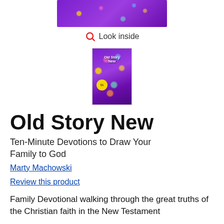[Figure (photo): Top portion of a book cover with purple background and colorful dots/stars, partially cropped at the top of the page]
Look inside
[Figure (photo): Thumbnail image of the book 'Old Story New' with purple cover, colorful abstract design, and a yellow badge]
Old Story New
Ten-Minute Devotions to Draw Your Family to God
Marty Machowski
Review this product
Family Devotional walking through the great truths of the Christian faith in the New Testament